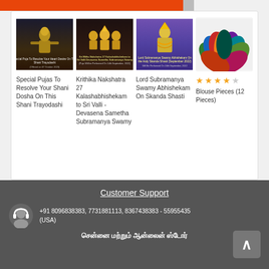[Figure (photo): Special Pujas To Resolve Your Shani Dosha On This Shani Trayodashi - product image showing a Hindu deity statue]
Special Pujas To Resolve Your Shani Dosha On This Shani Trayodashi
[Figure (photo): Krithika Nakshatra 27 Kalashabhishekam to Sri Valli - Devasena Sametha Subramanya Swamy - product image]
Krithika Nakshatra 27 Kalashabhishekam to Sri Valli - Devasena Sametha Subramanya Swamy
[Figure (photo): Lord Subramanya Swamy Abhishekam On Skanda Shasti - product image]
Lord Subramanya Swamy Abhishekam On Skanda Shasti
[Figure (photo): Blouse Pieces (12 Pieces) - colorful fabric pieces image]
Blouse Pieces (12 Pieces)
Customer Support
+91 8096838383, 7731881113, 8367438383 - 55955435 (USA)
சென்னை மற்றும் ஆன்லைன் ஸ்டோர்